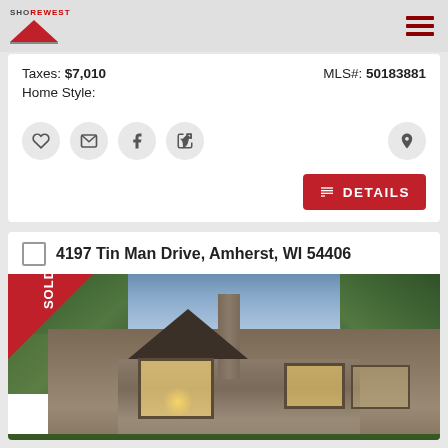Shorewest
Taxes: $7,010   MLS#: 50183881
Home Style:
[Figure (screenshot): Action icon buttons: heart/favorite, email, facebook, share/forward; and a location pin icon on the right]
[Figure (screenshot): Red DETAILS button with list icon]
4197 Tin Man Drive, Amherst, WI 54406
[Figure (photo): Exterior photo of a large craftsman/stone home at dusk with SOLD banner in top-left corner, surrounded by trees, with stone facade and large windows lit from inside]